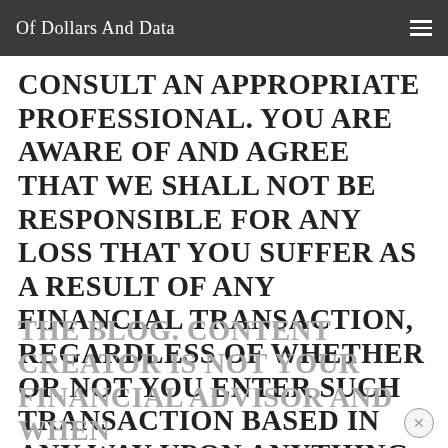Of Dollars And Data
CONSULT AN APPROPRIATE PROFESSIONAL. YOU ARE AWARE OF AND AGREE THAT WE SHALL NOT BE RESPONSIBLE FOR ANY LOSS THAT YOU SUFFER AS A RESULT OF ANY FINANCIAL TRANSACTION, REGARDLESS OF WHETHER OR NOT YOU ENTER SUCH TRANSACTION BASED IN ANY WAY UPON ANYTHING YOU LEARN FROM THE BLOG. CONTENT CREATOR IS NOT YOUR FINANCIAL ADVISOR AND WHEN